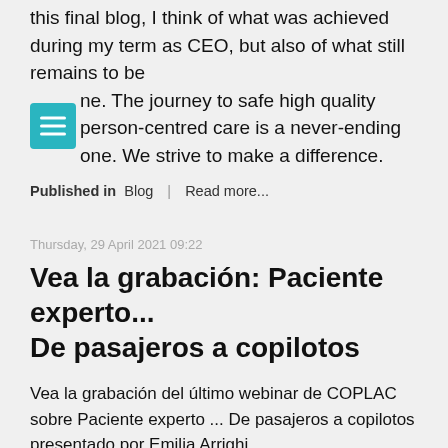this final blog, I think of what was achieved during my term as CEO, but also of what still remains to be done. The journey to safe high quality person-centred care is a never-ending one. We strive to make a difference.
Published in Blog | Read more...
Thursday, 29 April 2021 09:22
Vea la grabación: Paciente experto... De pasajeros a copilotos
Vea la grabación del último webinar de COPLAC sobre Paciente experto ... De pasajeros a copilotos presentado por Emilia Arrighi...